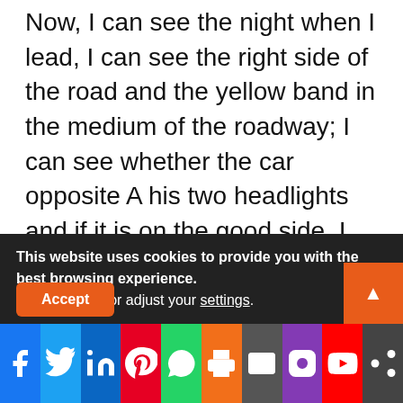Now, I can see the night when I lead, I can see the right side of the road and the yellow band in the medium of the roadway; I can see whether the car opposite A his two headlights and if it is on the good side. I had never said to my wife how much control night modified my vision because then, she would never have liked to get into the car. Moreover, that cost me anything, not immobilization, not side effects, not of pain, not of suffering, except the two minutes
This website uses cookies to provide you with the best browsing experience.
Find out more or adjust your settings.